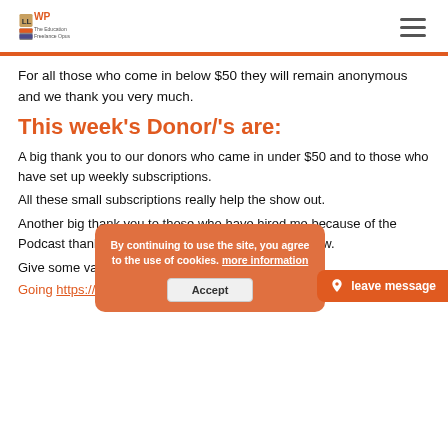LLWP logo and hamburger menu
For all those who come in below $50 they will remain anonymous and we thank you very much.
This week's Donor/'s are:
A big thank you to our donors who came in under $50 and to those who have set up weekly subscriptions. All these small subscriptions really help the show out.
Another big thank you to those who have hired me because of the Podcast thank you that also is contributing to the show.
Give some value back by:
Going https://unpluginector.com/donate/ and create a donation